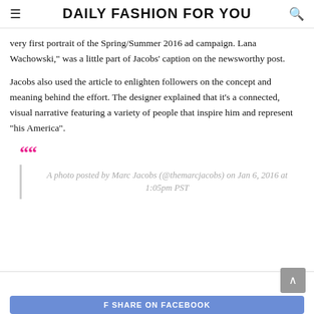DAILY FASHION FOR YOU
very first portrait of the Spring/Summer 2016 ad campaign. Lana Wachowski," was a little part of Jacobs' caption on the newsworthy post.
Jacobs also used the article to enlighten followers on the concept and meaning behind the effort. The designer explained that it's a connected, visual narrative featuring a variety of people that inspire him and represent "his America".
A photo posted by Marc Jacobs (@themarcjacobs) on Jan 6, 2016 at 1:05pm PST